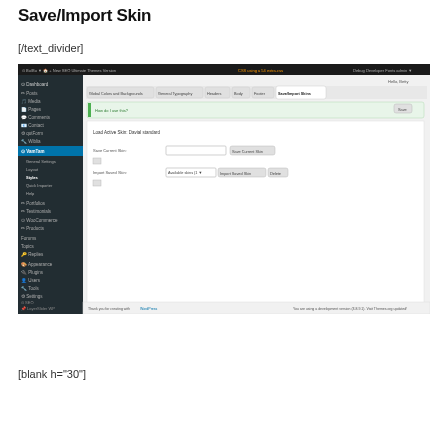Save/Import Skin
[/text_divider]
[Figure (screenshot): WordPress admin dashboard screenshot showing the 'Save/Import Skins' tab selected under VamTam theme settings. The left sidebar shows the WordPress navigation menu including Dashboard, Posts, Media, Pages, Comments, Contact, qutForm, Wiblia, VamTam (expanded with General Settings, Layout, Styles, Quick Importer, Help), Portfolios, Testimonials, WooCommerce, Products, Forums, Topics, Replies, Appearance, Plugins, Users, Tools, Settings, SEO, LayerSlider WP, Ultimate TinyMCE, and a Collapse menu option. The main content area shows tabs: Global Colors and Backgrounds, General Typography, Headers, Body, Footer, Save/Import Skins (active). Below the tabs is a collapsible 'How do I use this?' info box with a 'Save' button. The content shows 'Load Active Skin: Davial standard', a 'Save Current Skin' button with a text input, and an 'Import Saved Skin' section with a dropdown and Import Saved Skin and Delete buttons.]
[blank h="30"]